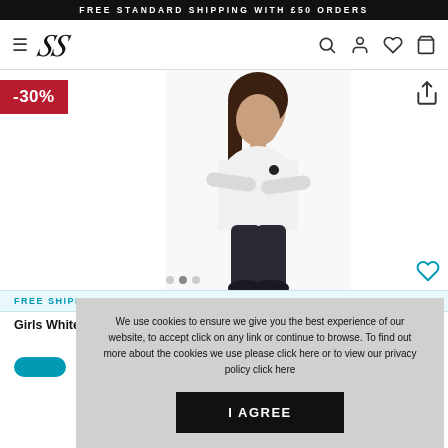FREE STANDARD SHIPPING WITH £50 ORDERS
[Figure (logo): SikSilk brand logo with stylized SS monogram in italic script]
[Figure (photo): Young girl wearing white t-shirt and dark leggings, arms crossed, product photo]
-30%
FREE SHIPP...
Girls White Essentia...
We use cookies to ensure we give you the best experience of our website, to accept click on any link or continue to browse. To find out more about the cookies we use please click here or to view our privacy policy click here
I AGREE